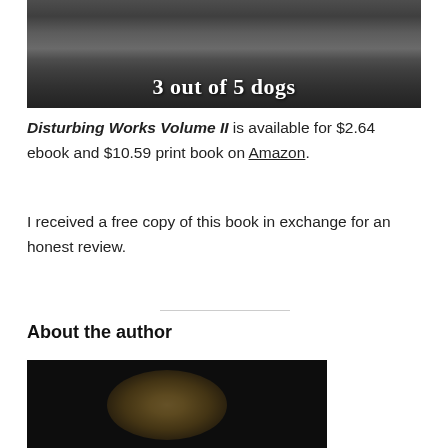[Figure (photo): Black and white photo of three dogs sitting on a couch/sofa, with bold white text overlay reading '3 out of 5 dogs']
Disturbing Works Volume II is available for $2.64 ebook and $10.59 print book on Amazon.
I received a free copy of this book in exchange for an honest review.
About the author
[Figure (photo): Dark black and white portrait photo, partially illuminated face with glowing/backlit effect against a black background]